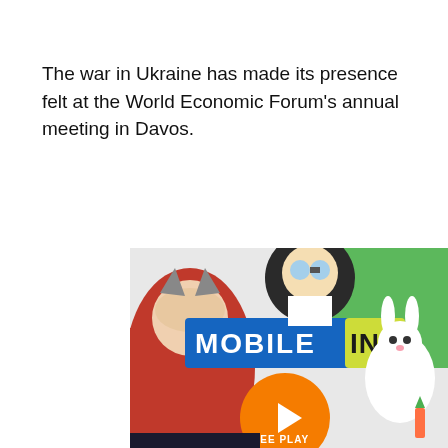The war in Ukraine has made its presence felt at the World Economic Forum's annual meeting in Davos.
[Figure (illustration): Mobile Indi gaming advertisement banner showing colorful game characters including a red fantasy warrior character on the left, a scientist character in the center-top, a white rabbit/bunny character on the right, game items and vegetables. Text reads 'MOBILE INI' in blue pixel-style letters with yellow-green accent on 'INI'. Below center is an orange circle with 'FREE PLAY' text and a play button triangle arrow.]